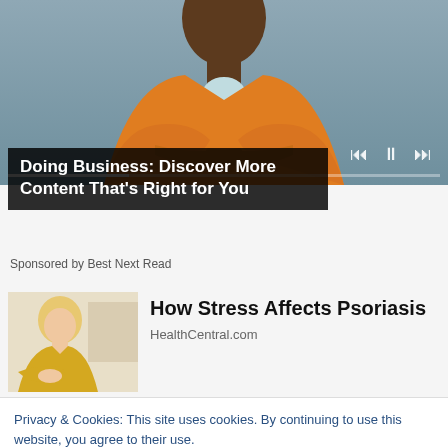[Figure (screenshot): Video player showing a person in an orange jacket with arms crossed, with playback controls (skip back, pause, skip forward) and a progress bar at the bottom.]
Doing Business: Discover More Content That's Right for You
Sponsored by Best Next Read
[Figure (photo): Thumbnail photo of a blonde woman in a yellow sweater looking at her arm/wrist.]
How Stress Affects Psoriasis
HealthCentral.com
Privacy & Cookies: This site uses cookies. By continuing to use this website, you agree to their use.
To find out more, including how to control cookies, see here: Cookie Policy